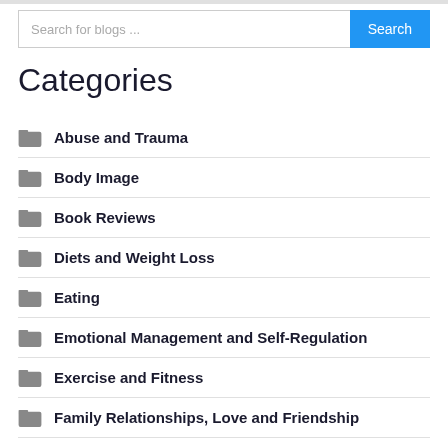[Figure (other): Search bar with text 'Search for blogs ...' and a blue Search button]
Categories
Abuse and Trauma
Body Image
Book Reviews
Diets and Weight Loss
Eating
Emotional Management and Self-Regulation
Exercise and Fitness
Family Relationships, Love and Friendship